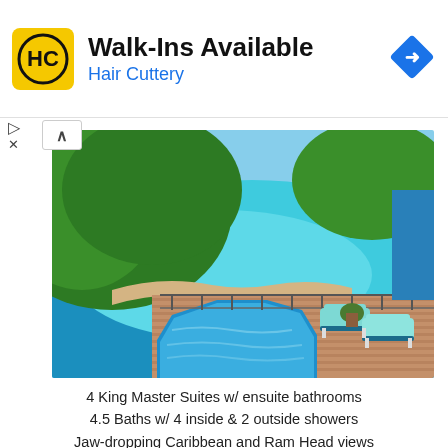[Figure (infographic): Hair Cuttery advertisement banner: yellow square logo with HC letters, text 'Walk-Ins Available' in bold black and 'Hair Cuttery' in blue, blue diamond navigation icon on right]
[Figure (photo): Caribbean villa with octagonal heated pool on a wooden deck, two turquoise lounge chairs, overlooking a stunning turquoise bay with green hillside and ocean views]
4 King Master Suites w/ ensuite bathrooms
4.5 Baths w/ 4 inside & 2 outside showers
Jaw-dropping Caribbean and Ram Head views
Luxury, Privacy, Heated pool